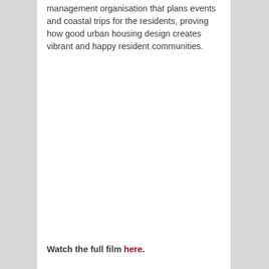management organisation that plans events and coastal trips for the residents, proving how good urban housing design creates vibrant and happy resident communities.
Watch the full film here.